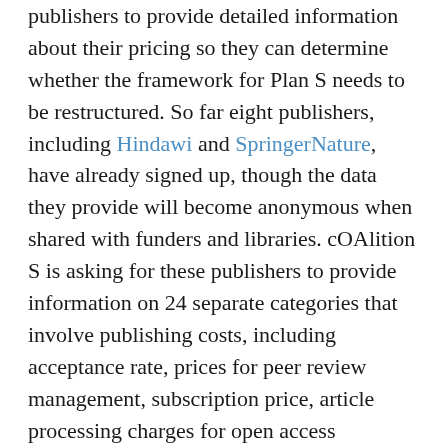publishers to provide detailed information about their pricing so they can determine whether the framework for Plan S needs to be restructured. So far eight publishers, including Hindawi and SpringerNature, have already signed up, though the data they provide will become anonymous when shared with funders and libraries. cOAlition S is asking for these publishers to provide information on 24 separate categories that involve publishing costs, including acceptance rate, prices for peer review management, subscription price, article processing charges for open access publication, and price caps. This pilot will run until March, and after it is completed, they will determine how to proceed with Plan S.
The response to Plan S was swift and not all Academics are on board. But cOAlition S is working hard to